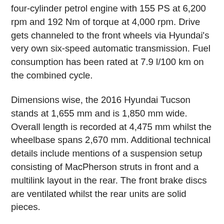four-cylinder petrol engine with 155 PS at 6,200 rpm and 192 Nm of torque at 4,000 rpm. Drive gets channeled to the front wheels via Hyundai's very own six-speed automatic transmission. Fuel consumption has been rated at 7.9 l/100 km on the combined cycle.
Dimensions wise, the 2016 Hyundai Tucson stands at 1,655 mm and is 1,850 mm wide. Overall length is recorded at 4,475 mm whilst the wheelbase spans 2,670 mm. Additional technical details include mentions of a suspension setup consisting of MacPherson struts in front and a multilink layout in the rear. The front brake discs are ventilated whilst the rear units are solid pieces.